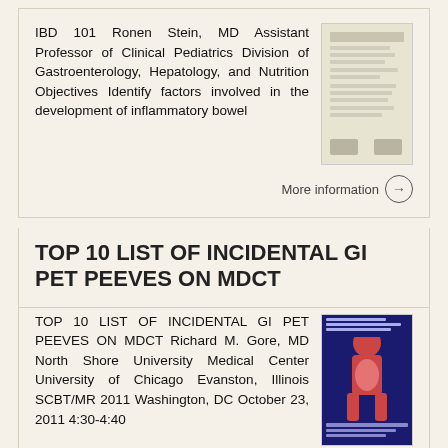IBD 101 Ronen Stein, MD Assistant Professor of Clinical Pediatrics Division of Gastroenterology, Hepatology, and Nutrition Objectives Identify factors involved in the development of inflammatory bowel
More information →
TOP 10 LIST OF INCIDENTAL GI PET PEEVES ON MDCT
TOP 10 LIST OF INCIDENTAL GI PET PEEVES ON MDCT Richard M. Gore, MD North Shore University Medical Center University of Chicago Evanston, Illinois SCBT/MR 2011 Washington, DC October 23, 2011 4:30-4:40
More information →